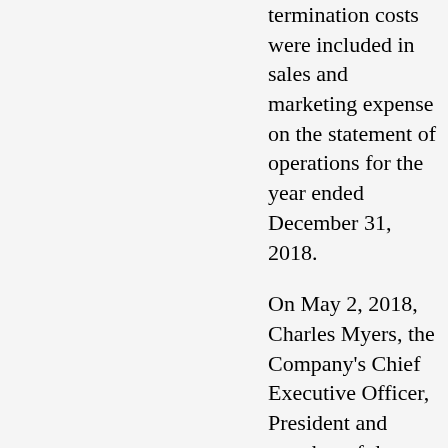termination costs were included in sales and marketing expense on the statement of operations for the year ended December 31, 2018.
On May 2, 2018, Charles Myers, the Company's Chief Executive Officer, President and member of the Board resigned from all positions with the Company